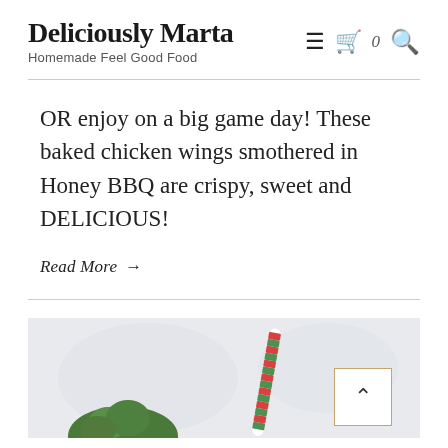Deliciously Marta
Homemade Feel Good Food
OR enjoy on a big game day! These baked chicken wings smothered in Honey BBQ are crispy, sweet and DELICIOUS!
Read More →
[Figure (photo): Partial view of a food photo on a light gray background showing a peppermint candy cane striped straw and what appears to be a food item, likely a holiday-themed recipe.]